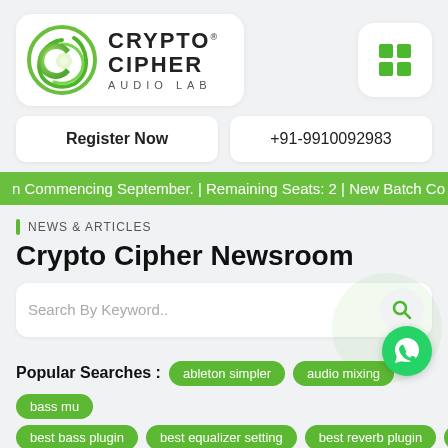[Figure (logo): Crypto Cipher Audio Lab logo with green swirl C icon and dark text]
[Figure (other): Green 2x2 grid/menu icon on white rounded card]
Register Now
+91-9910092983
n Commencing September. | Remaining Seats: 2 | New Batch Co
NEWS & ARTICLES
Crypto Cipher Newsroom
Search By Keyword..
Popular Searches :
ableton simpler
audio mixing
bass mu
best bass plugin
best equalizer setting
best reverb plugin
Compression